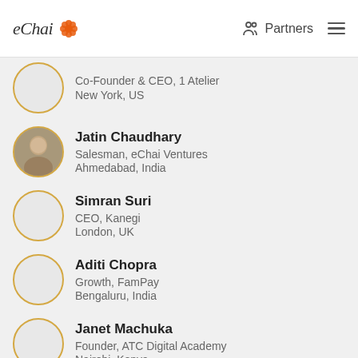eChai | Partners
Co-Founder & CEO, 1 Atelier
New York, US
Jatin Chaudhary
Salesman, eChai Ventures
Ahmedabad, India
Simran Suri
CEO, Kanegi
London, UK
Aditi Chopra
Growth, FamPay
Bengaluru, India
Janet Machuka
Founder, ATC Digital Academy
Nairobi, Kenya
Kumar Manish
Chief Communicator, Communicate Karo
Ahmedabad, India